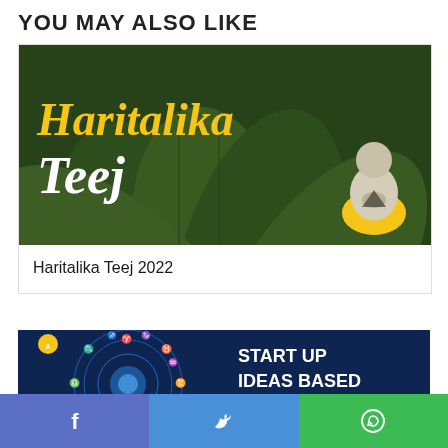YOU MAY ALSO LIKE
[Figure (illustration): Haritalika Teej thumbnail: dark green plant leaves background with yellow italic 'Haritalika' and white italic 'Teej' text, and a meditating figure illustration in yellow/beige on the right]
Haritalika Teej 2022
[Figure (illustration): Start Up Ideas Based On Astrology thumbnail: dark blue background with glowing zodiac wheel on left, bold white text 'START UP IDEAS BASED ON' and yellow 'ASTROLOGY' on right, small yellow circle logo top left]
[Figure (infographic): Social share bar with three buttons: Facebook (blue), Twitter (blue), WhatsApp (green)]